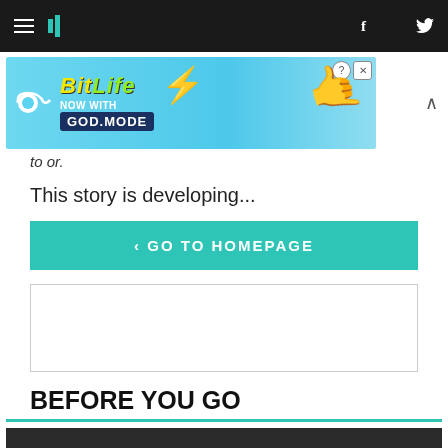HuffPost navigation bar with hamburger menu, logo, Facebook and Twitter icons
[Figure (screenshot): BitLife advertisement banner: 'BitLife NOW WITH GOD MODE' with cartoon pointing hand on cyan background]
to or.
This story is developing...
< GO TO HOMEPAGE
[Figure (other): Empty advertisement placeholder box with border]
BEFORE YOU GO
[Figure (photo): Partially visible dark image at bottom of page]